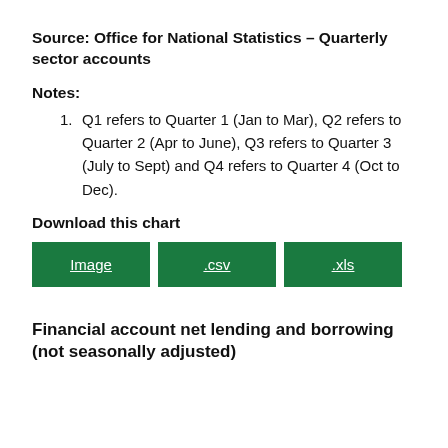Source: Office for National Statistics – Quarterly sector accounts
Notes:
Q1 refers to Quarter 1 (Jan to Mar), Q2 refers to Quarter 2 (Apr to June), Q3 refers to Quarter 3 (July to Sept) and Q4 refers to Quarter 4 (Oct to Dec).
Download this chart
[Figure (other): Three green download buttons labeled Image, .csv, and .xls]
Financial account net lending and borrowing (not seasonally adjusted)